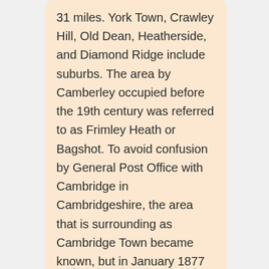31 miles. York Town, Crawley Hill, Old Dean, Heatherside, and Diamond Ridge include suburbs. The area by Camberley occupied before the 19th century was referred to as Frimley Heath or Bagshot. To avoid confusion by General Post Office with Cambridge in Cambridgeshire, the area that is surrounding as Cambridge Town became known, but in January 1877 was renamed "Camberley".
Visit Website
[Figure (other): Navigation dots: 6 dots, first one filled/active (dark), remaining 5 lighter]
Payment Methods
[Figure (logo): MasterCard and Maestro payment logos, and partially visible PayPal and Visa logos below]